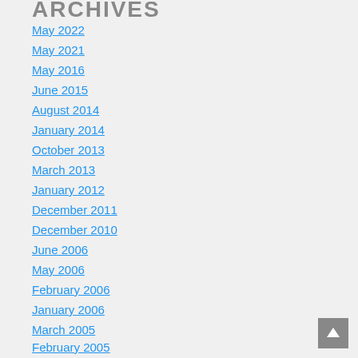ARCHIVES
May 2022
May 2021
May 2016
June 2015
August 2014
January 2014
October 2013
March 2013
January 2012
December 2011
December 2010
June 2006
May 2006
February 2006
January 2006
March 2005
February 2005
November 2004